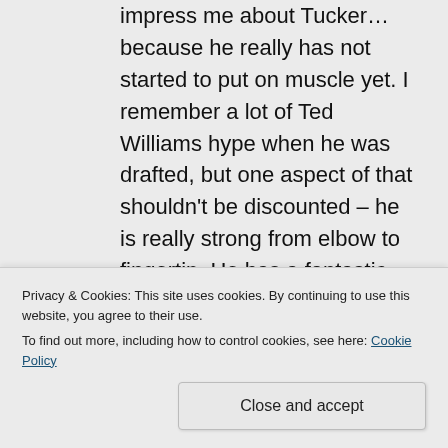impress me about Tucker…because he really has not started to put on muscle yet. I remember a lot of Ted Williams hype when he was drafted, but one aspect of that shouldn't be discounted – he is really strong from elbow to fingertip. He has a fantastic approach and hits to all fields. I said it a few times – if someone wants to acquire Tucker they should be the...
Privacy & Cookies: This site uses cookies. By continuing to use this website, you agree to their use. To find out more, including how to control cookies, see here: Cookie Policy